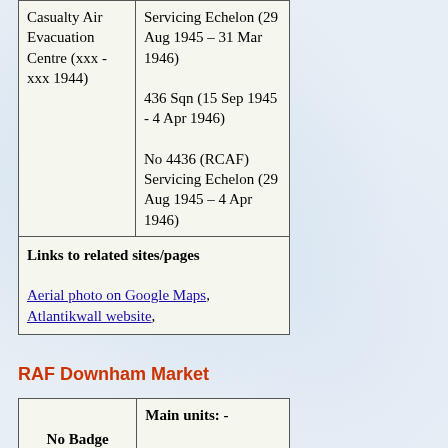|  |  |
| --- | --- |
| Casualty Air Evacuation Centre (xxx - xxx 1944) | Servicing Echelon (29 Aug 1945 – 31 Mar 1946)

436 Sqn (15 Sep 1945 - 4 Apr 1946)

No 4436 (RCAF) Servicing Echelon (29 Aug 1945 – 4 Apr 1946) |
| Links to related sites/pages | Aerial photo on Google Maps, Atlantikwall website, |
RAF Downham Market
|  | Main units: - |
| --- | --- |
| No Badge authorised | 218 Sqn (7 Jul 1942 - 7Mar |